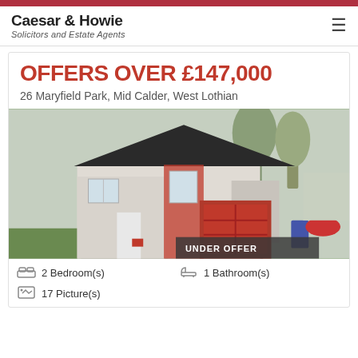Caesar & Howie
Solicitors and Estate Agents
OFFERS OVER £147,000
26 Maryfield Park, Mid Calder, West Lothian
[Figure (photo): Front exterior photo of a semi-detached house with white render, red brick accents, red garage door, and a driveway. Bare trees visible in background. 'UNDER OFFER' badge at bottom right of image.]
2 Bedroom(s)
1 Bathroom(s)
17 Picture(s)